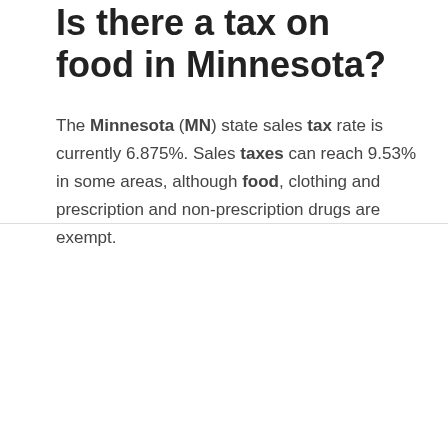Is there a tax on food in Minnesota?
The Minnesota (MN) state sales tax rate is currently 6.875%. Sales taxes can reach 9.53% in some areas, although food, clothing and prescription and non-prescription drugs are exempt.
What is not taxed in Minnesota?
Some popular items are exempt from sales tax in Minnesota, such as clothing, legal drugs, newspapers and unprepared food. Although Minnesota has a narrower sales tax base than most states in the region,